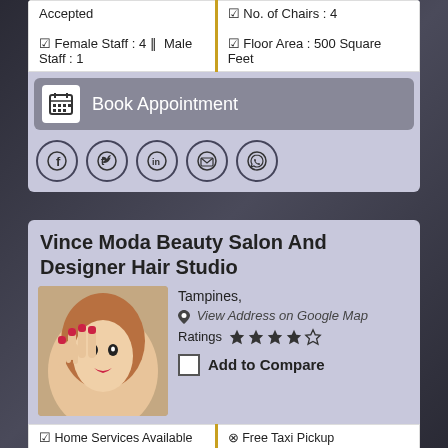| ☑ Female Staff : 4 ‖  Male Staff : 1 | ☑ No. of Chairs : 4
☑ Floor Area : 500 Square Feet |
Book Appointment
[Figure (infographic): Social media icons: Facebook, Twitter, LinkedIn, Email, WhatsApp]
Vince Moda Beauty Salon And Designer Hair Studio
[Figure (photo): Woman with red nails and lips posing for beauty salon]
Tampines,
View Address on Google Map
Ratings ★★★★☆
Add to Compare
| ☑ Home Services Available | ⊗ Free Taxi Pickup |
| ☑ Credit Card Accepted | ☑ Cafeteria  ☑ WiFi  ☑ Parking |
| ☑ Membership Cards | ☑ No. of Chairs : 4 |